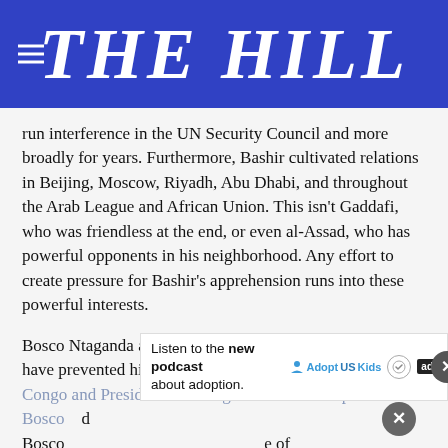[Figure (logo): The Hill newspaper logo — white bold italic serif text on blue background with hamburger menu icon on left]
run interference in the UN Security Council and more broadly for years. Furthermore, Bashir cultivated relations in Beijing, Moscow, Riyadh, Abu Dhabi, and throughout the Arab League and African Union. This isn't Gaddafi, who was friendless at the end, or even al-Assad, who has powerful opponents in his neighborhood. Any effort to create pressure for Bashir's apprehension runs into these powerful interests.
Bosco Ntaganda also benefits from powerful interests that have prevented his arrest. President Joseph Kabila of Congo and President Paul Kagame of Rwanda have protected Bosco ... [ad overlay] ... of